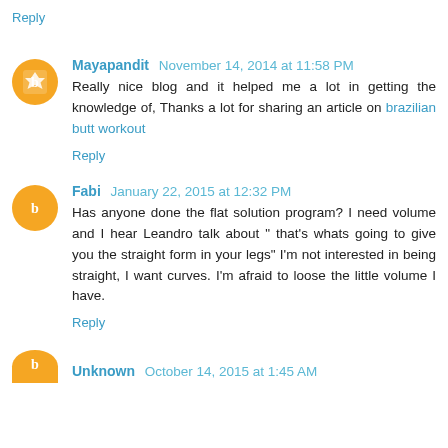Reply
Mayapandit  November 14, 2014 at 11:58 PM
Really nice blog and it helped me a lot in getting the knowledge of, Thanks a lot for sharing an article on brazilian butt workout
Reply
Fabi  January 22, 2015 at 12:32 PM
Has anyone done the flat solution program? I need volume and I hear Leandro talk about " that's whats going to give you the straight form in your legs" I'm not interested in being straight, I want curves. I'm afraid to loose the little volume I have.
Reply
Unknown  October 14, 2015 at 1:45 AM